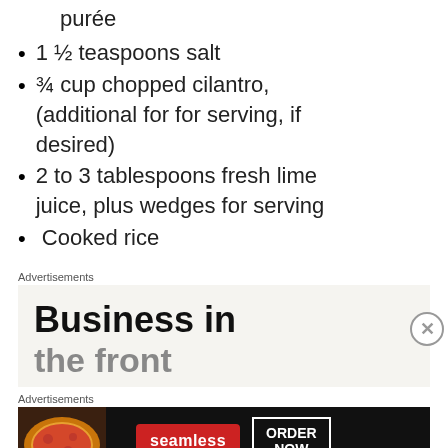purée
1 ½ teaspoons salt
¾ cup chopped cilantro, (additional for for serving, if desired)
2 to 3 tablespoons fresh lime juice, plus wedges for serving
Cooked rice
Advertisements
[Figure (advertisement): Ad reading 'Business in the front' on a beige background]
Advertisements
[Figure (advertisement): Seamless food delivery ad with pizza image, seamless logo button and ORDER NOW button on dark background]